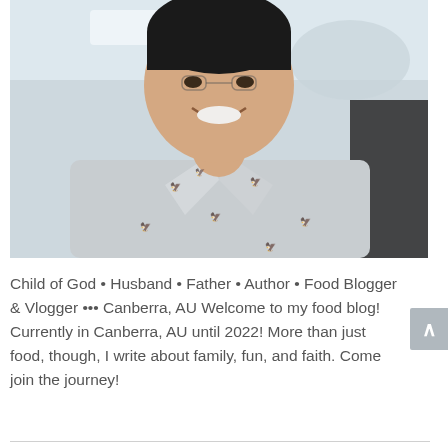[Figure (photo): A smiling Asian man wearing a light grey polo shirt with small bird/eagle pattern prints, photographed from chest up, with a blurred background showing an indoor setting.]
Child of God • Husband • Father • Author • Food Blogger & Vlogger ••• Canberra, AU Welcome to my food blog! Currently in Canberra, AU until 2022! More than just food, though, I write about family, fun, and faith. Come join the journey!